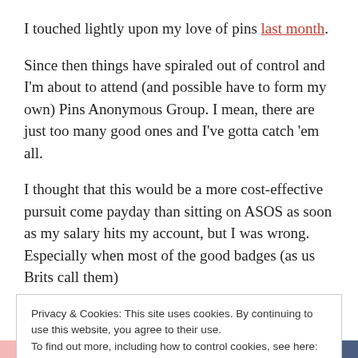I touched lightly upon my love of pins last month.
Since then things have spiraled out of control and I'm about to attend (and possible have to form my own) Pins Anonymous Group. I mean, there are just too many good ones and I've gotta catch 'em all.
I thought that this would be a more cost-effective pursuit come payday than sitting on ASOS as soon as my salary hits my account, but I was wrong. Especially when most of the good badges (as us Brits call them)
Privacy & Cookies: This site uses cookies. By continuing to use this website, you agree to their use.
To find out more, including how to control cookies, see here:
Cookie Policy
Close and accept
[Figure (illustration): Colored image strip at the bottom: pink, green, blue, denim sections]